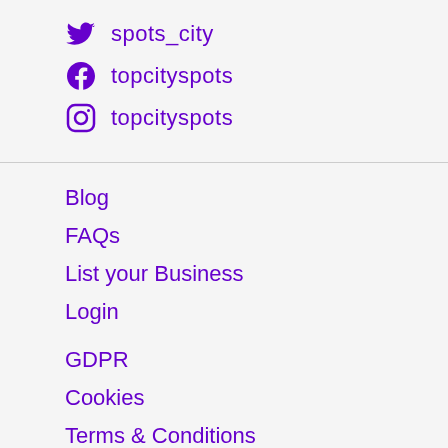spots_city
topcityspots
topcityspots
Blog
FAQs
List your Business
Login
GDPR
Cookies
Terms & Conditions
© 2022 Niche Networks